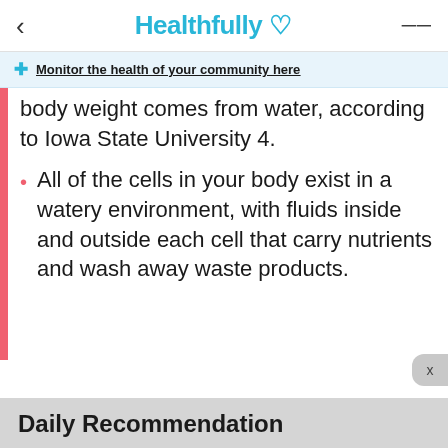< Healthfully ♡ ≡
Monitor the health of your community here
body weight comes from water, according to Iowa State University 4.
All of the cells in your body exist in a watery environment, with fluids inside and outside each cell that carry nutrients and wash away waste products.
Daily Recommendation